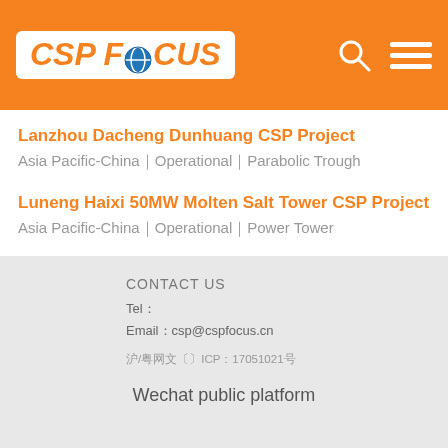CSP FOCUS
Lanzhou Dacheng Dunhuang CSP Project
Asia Pacific-China｜Operational｜Parabolic Trough
Luneng Haixi 50MW Molten Salt Tower CSP Project
Asia Pacific-China｜Operational｜Power Tower
CONTACT US
Tel：
Email：csp@cspfocus.cn
沪/粤网文〔〕ICP：17051021号
Wechat public platform
Follow CSP Focus for more news